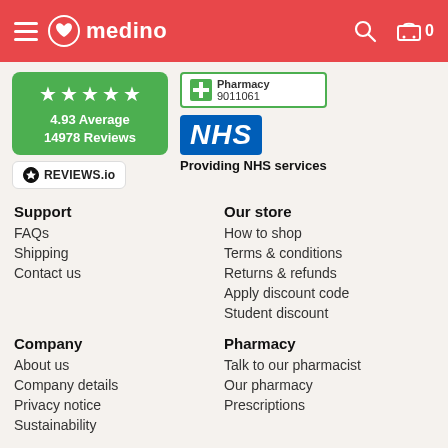medino
[Figure (logo): Green star rating badge showing 4.93 Average 14978 Reviews with REVIEWS.io branding, and Pharmacy 9011061 badge, NHS logo with Providing NHS services text]
Support
FAQs
Shipping
Contact us
Our store
How to shop
Terms & conditions
Returns & refunds
Apply discount code
Student discount
Company
About us
Company details
Privacy notice
Sustainability
Pharmacy
Talk to our pharmacist
Our pharmacy
Prescriptions